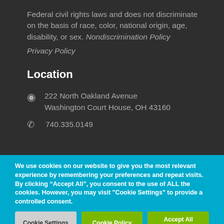Federal civil rights laws and does not discriminate on the basis of race, color, national origin, age, disability, or sex. Nondiscrimination Policy
Privacy Policy
Location
222 North Oakland Avenue
Washington Court House, OH 43160
740.335.0149
We use cookies on our website to give you the most relevant experience by remembering your preferences and repeat visits. By clicking "Accept All", you consent to the use of ALL the cookies. However, you may visit "Cookie Settings" to provide a controlled consent.
Cookie Settings | Cookie Policy | Accept All Cookies